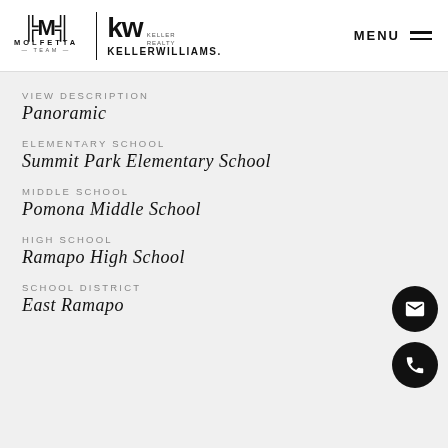[Figure (logo): Molfetta Team and Keller Williams Realty logos side by side with MENU navigation]
VIEW DESCRIPTION
Panoramic
ELEMENTARY SCHOOL
Summit Park Elementary School
MIDDLE SCHOOL
Pomona Middle School
HIGH SCHOOL
Ramapo High School
SCHOOL DISTRICT
East Ramapo